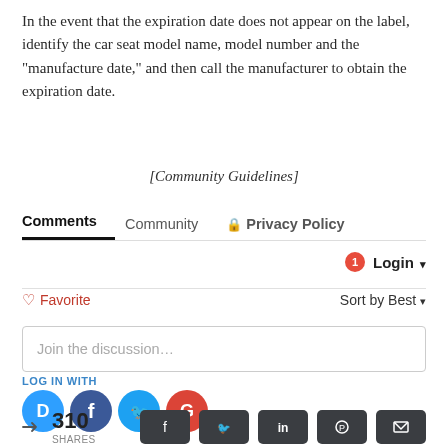In the event that the expiration date does not appear on the label, identify the car seat model name, model number and the "manufacture date," and then call the manufacturer to obtain the expiration date.
[Community Guidelines]
Comments  Community  Privacy Policy
1  Login ▾
♡ Favorite  Sort by Best ▾
Join the discussion...
LOG IN WITH
[Figure (screenshot): Social login icons: Disqus (blue), Facebook (dark blue), Twitter (light blue), Google (red)]
< 310 SHARES
[Figure (screenshot): Share buttons: Facebook, Twitter, LinkedIn, Pinterest, Email]